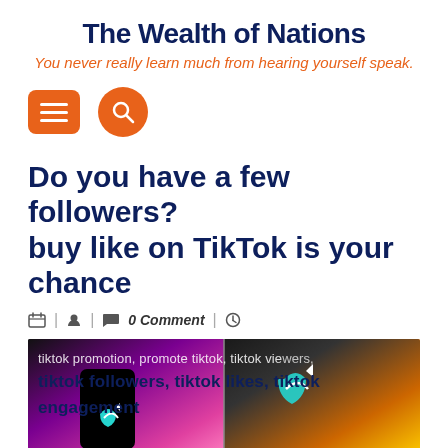The Wealth of Nations
You never really learn much from hearing yourself speak.
[Figure (screenshot): Navigation icons: orange rounded rectangle menu/hamburger icon and orange circle search icon]
Do you have a few followers? buy like on TikTok is your chance
0 Comment
[Figure (photo): Two TikTok logo images side by side on colorful backgrounds with overlay text: tiktok promotion, promote tiktok, tiktok viewers, tiktok followers, tiktok likes, tiktok engagement]